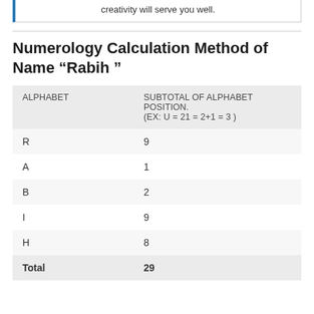creativity will serve you well.
Numerology Calculation Method of Name “Rabih ”
| ALPHABET | SUBTOTAL OF ALPHABET POSITION.
(EX: U = 21 = 2+1 = 3 ) |
| --- | --- |
| R | 9 |
| A | 1 |
| B | 2 |
| I | 9 |
| H | 8 |
| Total | 29 |